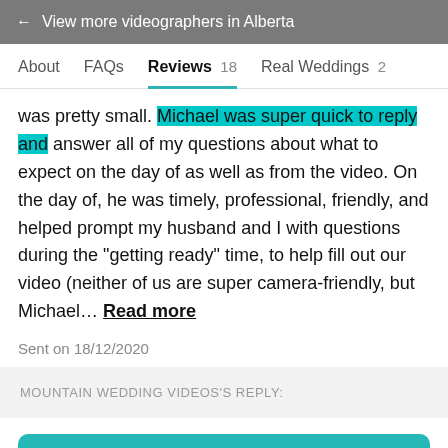← View more videographers in Alberta
About   FAQs   Reviews 18   Real Weddings 2
was pretty small. Michael was super quick to reply and answer all of my questions about what to expect on the day of as well as from the video. On the day of, he was timely, professional, friendly, and helped prompt my husband and I with questions during the "getting ready" time, to help fill out our video (neither of us are super camera-friendly, but Michael… Read more
Sent on 18/12/2020
MOUNTAIN WEDDING VIDEOS'S REPLY:
Message Vendor